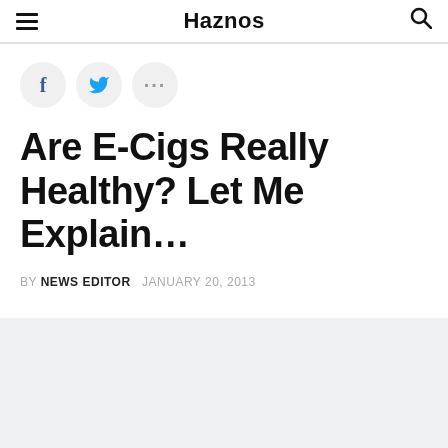Haznos
Are E-Cigs Really Healthy? Let Me Explain…
BY NEWS EDITOR   JANUARY 20, 2013